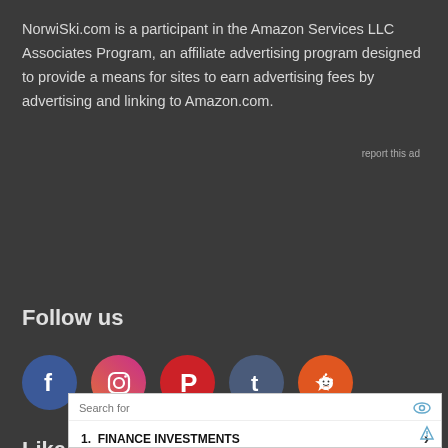NorwiSki.com is a participant in the Amazon Services LLC Associates Program, an affiliate advertising program designed to provide a means for sites to earn advertising fees by advertising and linking to Amazon.com.
report this ad
Follow us
[Figure (illustration): Row of five social media icon circles: Facebook (blue), Instagram (pink/red gradient), Pinterest (red), Tumblr (dark blue-grey), Reddit (orange)]
Like us
[Figure (screenshot): Ad widget with white background. Header: 'Search for' with eye icon. Row 1: '1. FINANCE INVESTMENTS' with right arrow. Row 2: '2. DISCOUNT SHOPPING' with right arrow. Small ad icon at bottom right.]